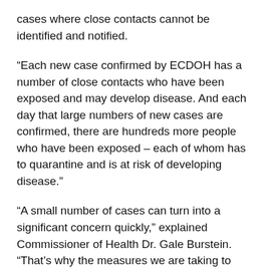cases where close contacts cannot be identified and notified.
“Each new case confirmed by ECDOH has a number of close contacts who have been exposed and may develop disease. And each day that large numbers of new cases are confirmed, there are hundreds more people who have been exposed – each of whom has to quarantine and is at risk of developing disease.”
“A small number of cases can turn into a significant concern quickly,” explained Commissioner of Health Dr. Gale Burstein. “That’s why the measures we are taking to reduce opportunities for COVID transmission are so crucial, and they have to continue.”
As for hospitalizations within Erie County and Western New York, past experience shows inpatient numbers follow trends of new cases. As daily case numbers increase, a proportion of those cases will be